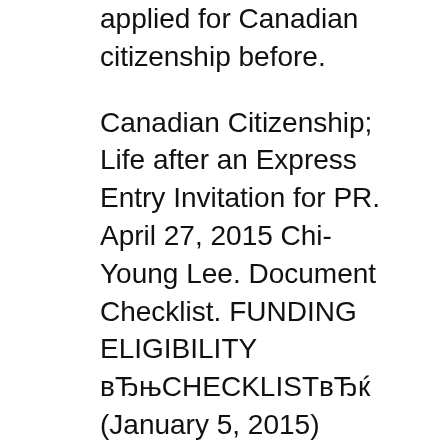applied for Canadian citizenship before.
Canadian Citizenship; Life after an Express Entry Invitation for PR. April 27, 2015 Chi-Young Lee. Document Checklist. FUNDING ELIGIBILITY вЂњCHECKLISTвЂќ (January 5, 2015) Canadian Citizenship card The above documents have been verified by the school principal or designate.
About to apply for Canadian citizenship yourself or simply wondering who decided to reverse the 2015 you have the most recent application form and checklist. Application for Canadian Citizenship: Adults. Beginning on June 11, forms, (including the Document